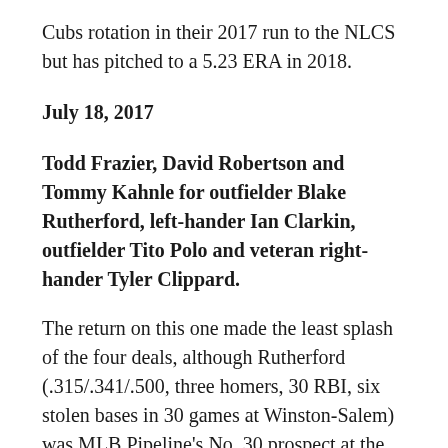Cubs rotation in their 2017 run to the NLCS but has pitched to a 5.23 ERA in 2018.
July 18, 2017
Todd Frazier, David Robertson and Tommy Kahnle for outfielder Blake Rutherford, left-hander Ian Clarkin, outfielder Tito Polo and veteran right-hander Tyler Clippard.
The return on this one made the least splash of the four deals, although Rutherford (.315/.341/.500, three homers, 30 RBI, six stolen bases in 30 games at Winston-Salem) was MLB Pipeline’s No. 30 prospect at the time. Clarkin, taken a pick behind Aaron Judge in the first round of the 2013 draft, is 3-4 with a 6.75 ERA in seven starts at Birmingham. Polo, a center fielder, is